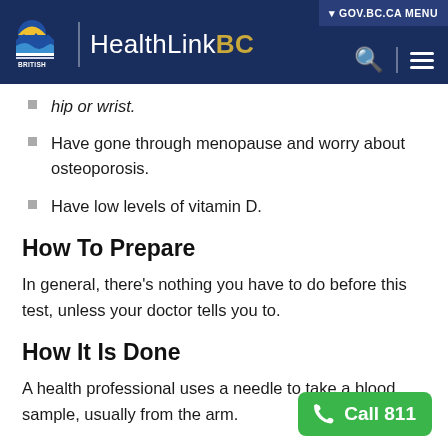HealthLinkBC — GOV.BC.CA MENU
hip or wrist.
Have gone through menopause and worry about osteoporosis.
Have low levels of vitamin D.
How To Prepare
In general, there's nothing you have to do before this test, unless your doctor tells you to.
How It Is Done
A health professional uses a needle to take a blood sample, usually from the arm.